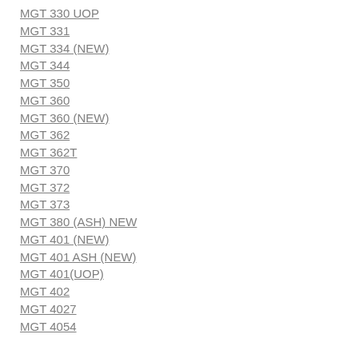MGT 330 UOP
MGT 331
MGT 334 (NEW)
MGT 344
MGT 350
MGT 360
MGT 360 (NEW)
MGT 362
MGT 362T
MGT 370
MGT 372
MGT 373
MGT 380 (ASH) NEW
MGT 401 (NEW)
MGT 401 ASH (NEW)
MGT 401(UOP)
MGT 402
MGT 4027
MGT 4054